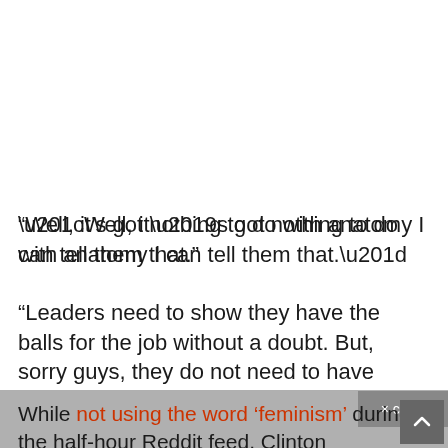“Well, it’s got nothing to do with anatomy I can tell them that.”
“Leaders need to show they have the balls for the job without a doubt. But, sorry guys, they do not need to have testicles.”
While not using the word ‘feminism’ during the half-hour Reddit feed, Clinton responded to multiple